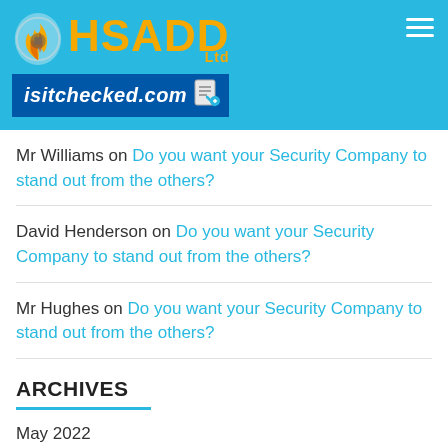[Figure (logo): HSADD Ltd logo with flame icon and isitchecked.com URL bar, on a cyan/sky-blue header background with hamburger menu icon]
Mr Williams on Do you want your Security Company to stand out from the others?
David Henderson on Do you want your Security Company to stand out from the others?
Mr Hughes on Do you want your Security Company to stand out from the others?
ARCHIVES
May 2022
April 2022